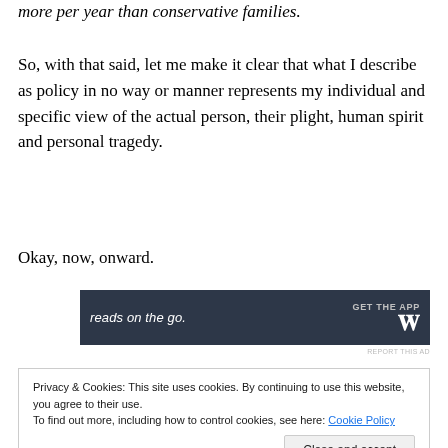more per year than conservative families.
So, with that said, let me make it clear that what I describe as policy in no way or manner represents my individual and specific view of the actual person, their plight, human spirit and personal tragedy.
Okay, now, onward.
[Figure (screenshot): Advertisement banner with dark background reading 'reads on the go.' with 'GET THE APP' and a WordPress logo (W) on the right.]
REPORT THIS AD
Privacy & Cookies: This site uses cookies. By continuing to use this website, you agree to their use.
To find out more, including how to control cookies, see here: Cookie Policy
Close and accept